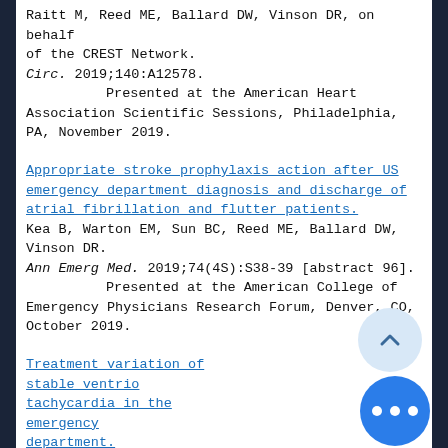Raitt M, Reed ME, Ballard DW, Vinson DR, on behalf of the CREST Network.
Circ. 2019;140:A12578.
Presented at the American Heart Association Scientific Sessions, Philadelphia, PA, November 2019.
Appropriate stroke prophylaxis action after US emergency department diagnosis and discharge of atrial fibrillation and flutter patients.
Kea B, Warton EM, Sun BC, Reed ME, Ballard DW, Vinson DR.
Ann Emerg Med. 2019;74(4S):S38-39 [abstract 96].
Presented at the American College of Emergency Physicians Research Forum, Denver, CO, October 2019.
Treatment variation of stable ventricular tachycardia in the emergency department.
Arangan J, Lin JS, Bouvet SC, Fazleabas Q, Warton EM, Reed ME, Liu TI, Vinson DR, McLachlan... the KP CREST Network.
Ann Emerg Med. 2019;74(4S):S27 [abstract 0...
Presented at the American College of